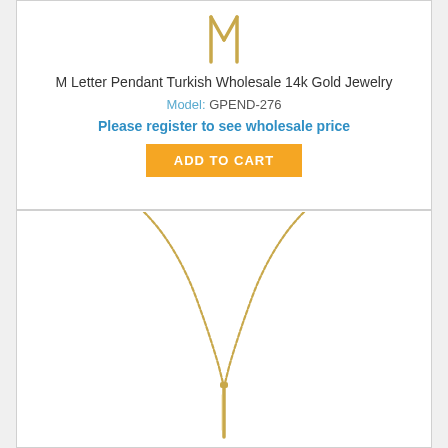[Figure (photo): Top portion of an M letter pendant necklace in 14k gold, showing the pendant piece against white background]
M Letter Pendant Turkish Wholesale 14k Gold Jewelry
Model: GPEND-276
Please register to see wholesale price
ADD TO CART
[Figure (photo): A delicate gold chain necklace with a thin bar/Y-shaped pendant, shown in full against white background]